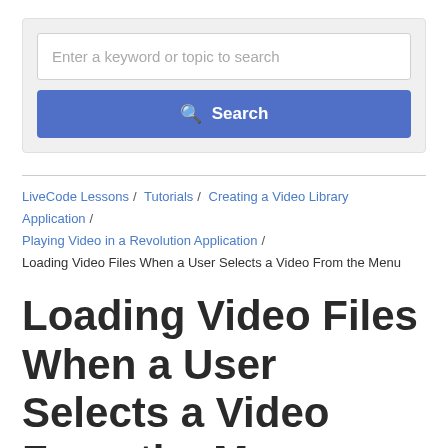[Figure (screenshot): Search bar UI with text input placeholder 'Enter a keyword or topic to search' and a blue Search button with magnifying glass icon]
LiveCode Lessons / Tutorials / Creating a Video Library Application / Playing Video in a Revolution Application / Loading Video Files When a User Selects a Video From the Menu
Loading Video Files When a User Selects a Video From the Menu